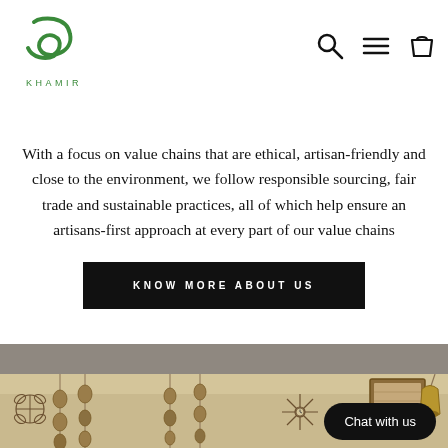[Figure (logo): Khamir logo — green stylized text/mark above text KHAMIR]
[Figure (infographic): Navigation icons: search magnifier, hamburger menu, shopping bag]
With a focus on value chains that are ethical, artisan-friendly and close to the environment, we follow responsible sourcing, fair trade and sustainable practices, all of which help ensure an artisans-first approach at every part of our value chains
[Figure (other): Black button with text KNOW MORE ABOUT US]
[Figure (photo): Artisan craft shop interior with hanging metal bell wind chimes, wire wall decorations, clock, and framed textile artwork. Chat with us button overlay in bottom right.]